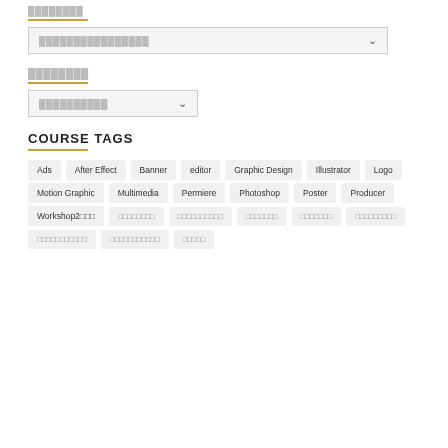████████
████████████████ (dropdown)
████████
██████████ (dropdown)
COURSE TAGS
Ads
After Effect
Banner
editor
Graphic Design
Illustrator
Logo
Motion Graphic
Multimedia
Permiere
Photoshop
Poster
Producer
Workshop2███
█████████
███████████
████████
████████
██████████
████████████
████████████
█████